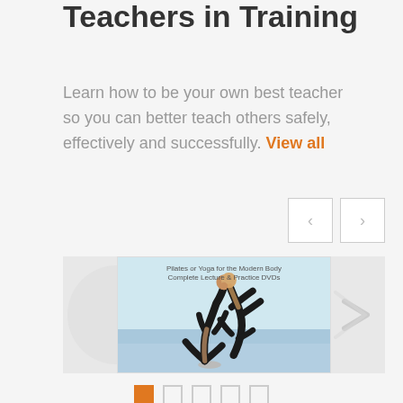Teachers in Training
Learn how to be your own best teacher so you can better teach others safely, effectively and successfully. View all
[Figure (screenshot): Carousel with yoga DVD product image showing two people in acro-yoga pose on beach, with navigation arrows and slide dots]
Pilates or Yoga for the Modern Body Complete Lecture & Practice DVDs